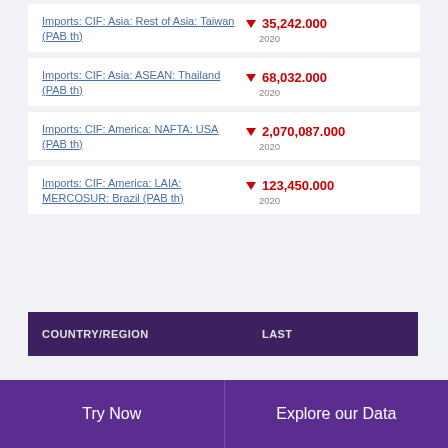Imports: CIF: Asia: Rest of Asia: Taiwan (PAB th) ▼ 35,242.000 2020
Imports: CIF: Asia: ASEAN: Thailand (PAB th) ▼ 68,032.000 2020
Imports: CIF: America: NAFTA: USA (PAB th) ▼ 2,070,087.000 2020
Imports: CIF: America: LAIA: MERCOSUR: Brazil (PAB th) ▼ 123,450.000 2020
| COUNTRY/REGION | LAST |
| --- | --- |
Try Now | Explore our Data